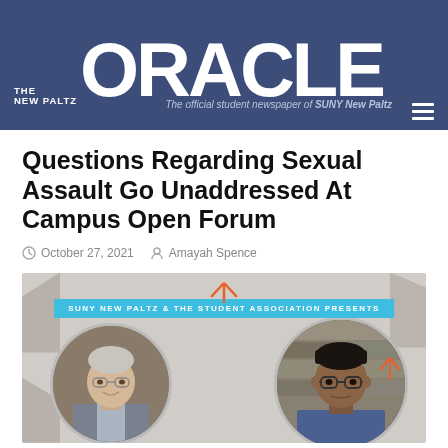THE NEW PALTZ ORACLE — The official student newspaper of SUNY New Paltz
Questions Regarding Sexual Assault Go Unaddressed At Campus Open Forum
October 27, 2021   Amayah Spence
[Figure (photo): Event promotional image for SUNY New Paltz & The Student Association Presents open forum, showing two circular portrait photos of speakers against a decorative background with orange arrow graphics.]